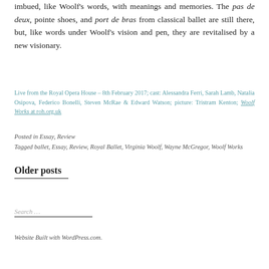imbued, like Woolf's words, with meanings and memories. The pas de deux, pointe shoes, and port de bras from classical ballet are still there, but, like words under Woolf's vision and pen, they are revitalised by a new visionary.
Live from the Royal Opera House – 8th February 2017; cast: Alessandra Ferri, Sarah Lamb, Natalia Osipova, Federico Bonelli, Steven McRae & Edward Watson; picture: Tristram Kenton; Woolf Works at roh.org.uk
Posted in Essay, Review
Tagged ballet, Essay, Review, Royal Ballet, Virginia Woolf, Wayne McGregor, Woolf Works
Older posts
Search …
Website Built with WordPress.com.